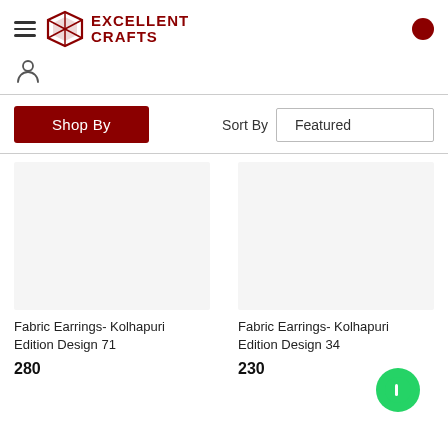[Figure (logo): Excellent Crafts logo with stylized geometric icon in dark red and brand name in uppercase serif font]
Shop By
Sort By Featured
Fabric Earrings- Kolhapuri Edition Design 71
280
Fabric Earrings- Kolhapuri Edition Design 34
230